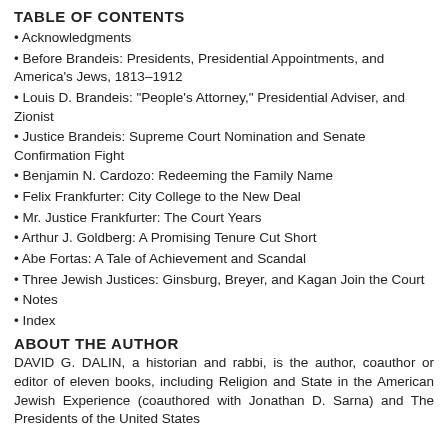TABLE OF CONTENTS
Acknowledgments
Before Brandeis: Presidents, Presidential Appointments, and America's Jews, 1813–1912
Louis D. Brandeis: “People’s Attorney,” Presidential Adviser, and Zionist
Justice Brandeis: Supreme Court Nomination and Senate Confirmation Fight
Benjamin N. Cardozo: Redeeming the Family Name
Felix Frankfurter: City College to the New Deal
Mr. Justice Frankfurter: The Court Years
Arthur J. Goldberg: A Promising Tenure Cut Short
Abe Fortas: A Tale of Achievement and Scandal
Three Jewish Justices: Ginsburg, Breyer, and Kagan Join the Court
Notes
Index
ABOUT THE AUTHOR
DAVID G. DALIN, a historian and rabbi, is the author, coauthor or editor of eleven books, including Religion and State in the American Jewish Experience (coauthored with Jonathan D. Sarna) and The Presidents of the United States